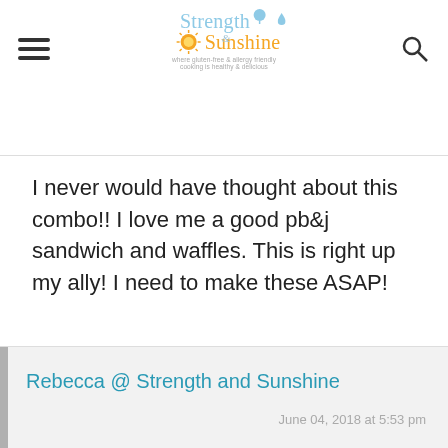Strength & Sunshine — where gluten-free & allergy-friendly cooking is healthy & delicious
I never would have thought about this combo!! I love me a good pb&j sandwich and waffles. This is right up my ally! I need to make these ASAP!
REPLY
Rebecca @ Strength and Sunshine
June 04, 2018 at 5:53 pm